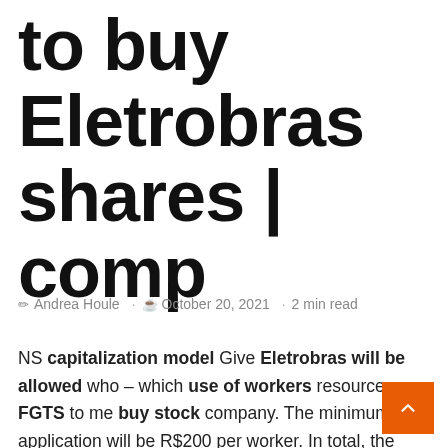to buy Eletrobras shares | comp
✎ Andrea Houle · 🕐 October 20, 2021 · 2 min read
NS capitalization model Give Eletrobras will be allowed who – which use of workers resources FGTS to me buy stock company. The minimum application will be R$200 per worker. In total, the Investment Partnership Program Board (CPPI) using up to R$ billion of FGTS balance for this type of investment.